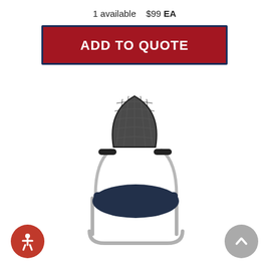1 available   $99 EA
ADD TO QUOTE
[Figure (photo): Office guest/side chair with mesh back, navy fabric seat, silver cantilever frame and black armrests, photographed on white background.]
[Figure (illustration): Red circular accessibility icon with white person figure]
[Figure (illustration): Gray circular scroll-up button with white upward chevron arrow]